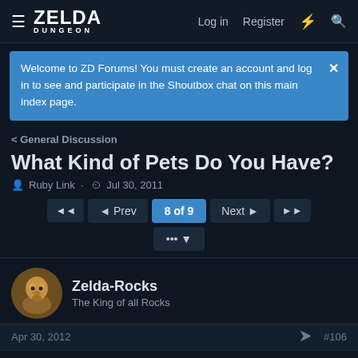ZELDA DUNGEON — Log in  Register
Welcome to ZD Forums! You must create an account and log in to see and participate in the Shoutbox chat on this main index page.
General Discussion
What Kind of Pets Do You Have?
Ruby Link · Jul 30, 2011
◄◄  ◄ Prev  8 of 9  Next ►  ►►  ...
Zelda-Rocks
The King of all Rocks
Apr 30, 2012  #106
i have a boa constricter, a leopord gecko, a green anole, a fire